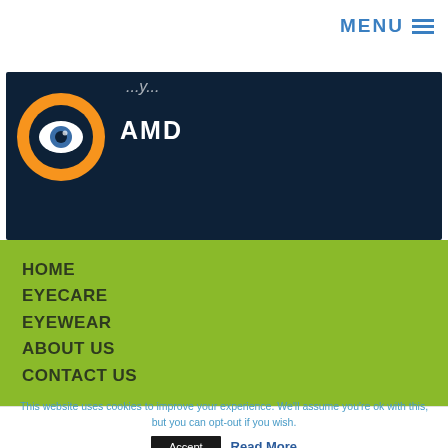MENU
[Figure (logo): Eye logo with orange and navy circle design, with text 'AMD' in white on dark navy background]
HOME
EYECARE
EYEWEAR
ABOUT US
CONTACT US
This website uses cookies to improve your experience. We'll assume you're ok with this, but you can opt-out if you wish.
Accept  Read More